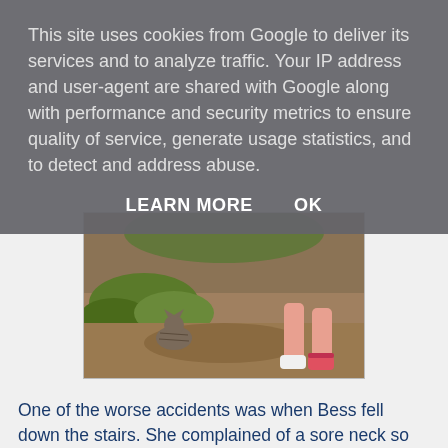This site uses cookies from Google to deliver its services and to analyze traffic. Your IP address and user-agent are shared with Google along with performance and security metrics to ensure quality of service, generate usage statistics, and to detect and address abuse.
LEARN MORE   OK
[Figure (photo): Outdoor photo showing a child's legs and feet wearing sandals, with a cat visible on the ground among leaves and dirt.]
One of the worse accidents was when Bess fell down the stairs. She complained of a sore neck so we took her to A&E. On the way, and waiting to be seen, it became apparent to us there was a problem with her memory. She kept asking why we were in the hospital and couldn't remember falling down. Janet and I just looked at each other with real fright in our eyes. I was sure all the learning she had done was falling out her head - see what I mean by